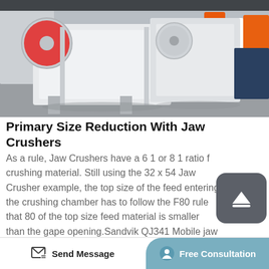[Figure (photo): Multiple large white jaw crusher machines lined up in an industrial warehouse/factory floor. Some orange equipment visible in the background. A red flywheel is visible on the leftmost crusher.]
Primary Size Reduction With Jaw Crushers
As a rule, Jaw Crushers have a 6 1 or 8 1 ratio for crushing material. Still using the 32 x 54 Jaw Crusher example, the top size of the feed entering the crushing chamber has to follow the F80 rule that 80 of the top size feed material is smaller than the gape opening.Sandvik QJ341 Mobile jaw crusher. Key Specifications. Equipment. Single toggle C12 jaw crusher. Feed Opening. 1200 x 750
Send Message   Free Consultation